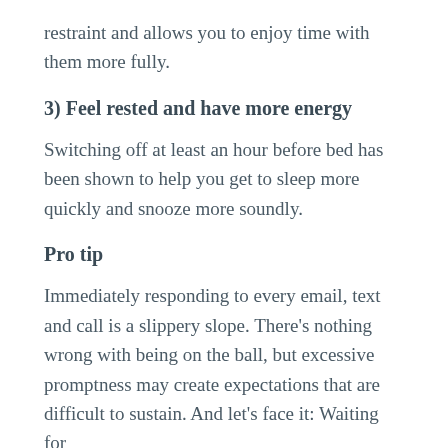restraint and allows you to enjoy time with them more fully.
3) Feel rested and have more energy
Switching off at least an hour before bed has been shown to help you get to sleep more quickly and snooze more soundly.
Pro tip
Immediately responding to every email, text and call is a slippery slope. There’s nothing wrong with being on the ball, but excessive promptness may create expectations that are difficult to sustain. And let’s face it: Waiting for